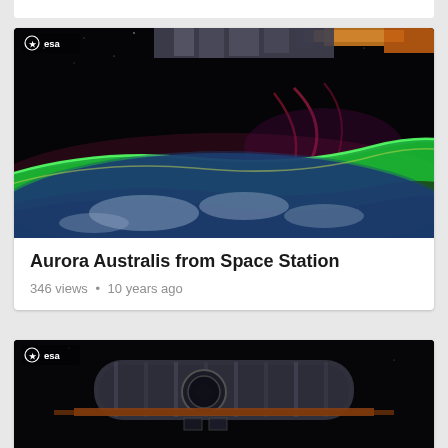[Figure (photo): Thumbnail image of Aurora Australis viewed from the International Space Station, showing green aurora over Earth with spacecraft structure visible, ESA logo watermark in top-left corner.]
Aurora Australis from Space Station
346 views • 10 years ago
[Figure (photo): Thumbnail image of a spacewalk or docked module at the International Space Station, dark scene with spacecraft hardware visible, ESA logo watermark in top-left corner.]